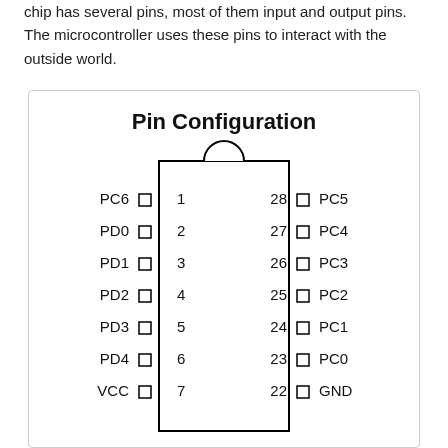chip has several pins, most of them input and output pins. The microcontroller uses these pins to interact with the outside world.
[Figure (schematic): Pin configuration diagram for a 28-pin DIP microcontroller. Left side pins 1-7: PC6, PD0, PD1, PD2, PD3, PD4, VCC. Right side pins 28-22: PC5, PC4, PC3, PC2, PC1, PC0, GND. IC body shown with notch indicator at top.]